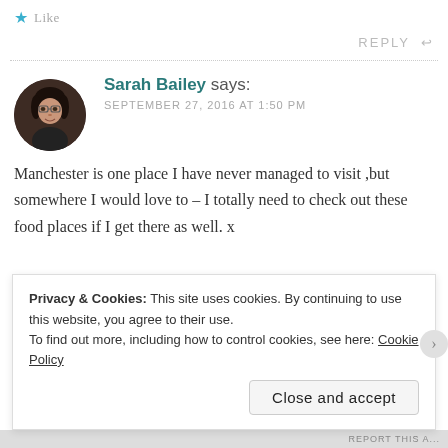Like
REPLY
Sarah Bailey says:
SEPTEMBER 27, 2016 AT 1:50 PM
Manchester is one place I have never managed to visit ,but somewhere I would love to – I totally need to check out these food places if I get there as well. x
Privacy & Cookies: This site uses cookies. By continuing to use this website, you agree to their use.
To find out more, including how to control cookies, see here: Cookie Policy
Close and accept